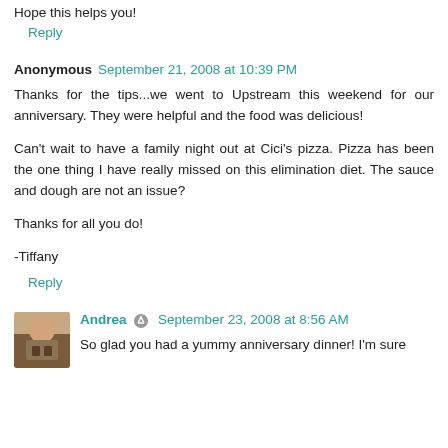Hope this helps you!
Reply
Anonymous  September 21, 2008 at 10:39 PM
Thanks for the tips...we went to Upstream this weekend for our anniversary. They were helpful and the food was delicious!
Can't wait to have a family night out at Cici's pizza. Pizza has been the one thing I have really missed on this elimination diet. The sauce and dough are not an issue?
Thanks for all you do!
-Tiffany
Reply
Andrea  September 23, 2008 at 8:56 AM
So glad you had a yummy anniversary dinner! I'm sure